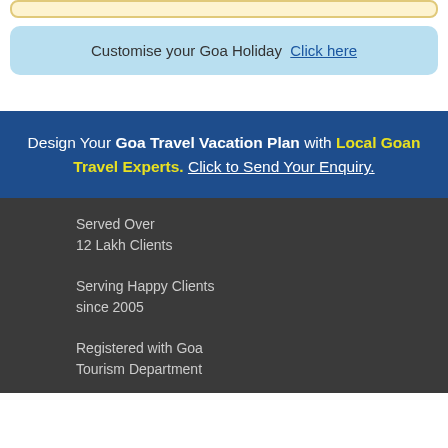Customise your Goa Holiday  Click here
Design Your Goa Travel Vacation Plan with Local Goan Travel Experts. Click to Send Your Enquiry.
Served Over
12 Lakh Clients
Serving Happy Clients
since 2005
Registered with Goa
Tourism Department